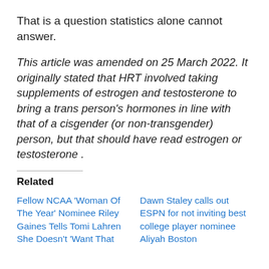That is a question statistics alone cannot answer.
This article was amended on 25 March 2022. It originally stated that HRT involved taking supplements of estrogen and testosterone to bring a trans person's hormones in line with that of a cisgender (or non-transgender) person, but that should have read estrogen or testosterone .
Related
Fellow NCAA ‘Woman Of The Year’ Nominee Riley Gaines Tells Tomi Lahren She Doesn’t ‘Want That
Dawn Staley calls out ESPN for not inviting best college player nominee Aliyah Boston